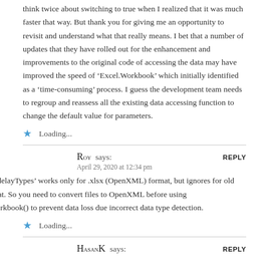think twice about switching to true when I realized that it was much faster that way. But thank you for giving me an opportunity to revisit and understand what that really means. I bet that a number of updates that they have rolled out for the enhancement and improvements to the original code of accessing the data may have improved the speed of ‘Excel.Workbook’ which initially identified as a ‘time-consuming’ process. I guess the development team needs to regroup and reassess all the existing data accessing function to change the default value for parameters.
Loading...
Roy says:
April 29, 2020 at 12:34 pm
Notice, ‘delayTypes’ works only for .xlsx (OpenXML) format, but ignores for old .xls format. So you need to convert files to OpenXML before using Excel.Workbook() to prevent data loss due incorrect data type detection.
Loading...
HasanK says: